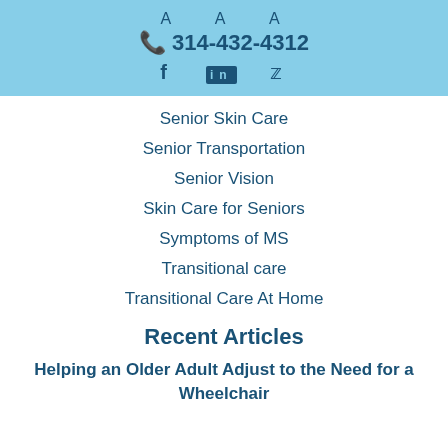A A A
☎ 314-432-4312
f in 🐦
Senior Skin Care
Senior Transportation
Senior Vision
Skin Care for Seniors
Symptoms of MS
Transitional care
Transitional Care At Home
Recent Articles
Helping an Older Adult Adjust to the Need for a Wheelchair